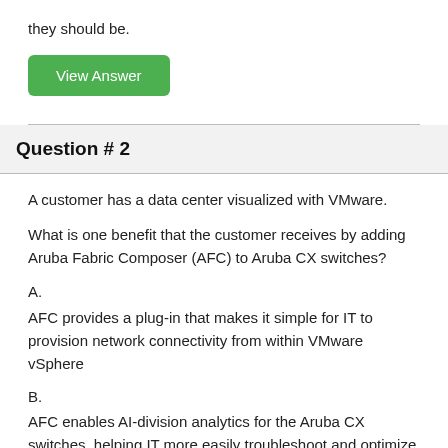they should be.
View Answer
Question # 2
A customer has a data center visualized with VMware.
What is one benefit that the customer receives by adding Aruba Fabric Composer (AFC) to Aruba CX switches?
A. AFC provides a plug-in that makes it simple for IT to provision network connectivity from within VMware vSphere
B. AFC enables AI-division analytics for the Aruba CX switches, helping IT more easily troubleshoot and optimize